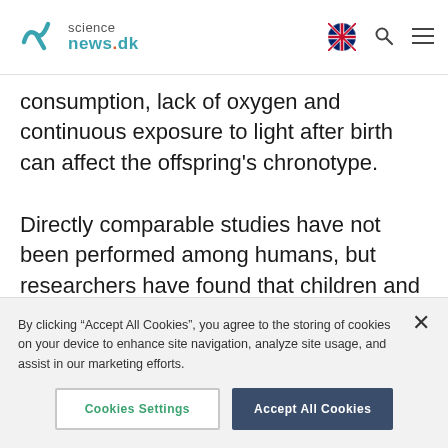sciencenews.dk
consumption, lack of oxygen and continuous exposure to light after birth can affect the offspring's chronotype.
Directly comparable studies have not been performed among humans, but researchers have found that children and teenagers born prematurely might have an earlier chronotype.
By clicking “Accept All Cookies”, you agree to the storing of cookies on your device to enhance site navigation, analyze site usage, and assist in our marketing efforts.